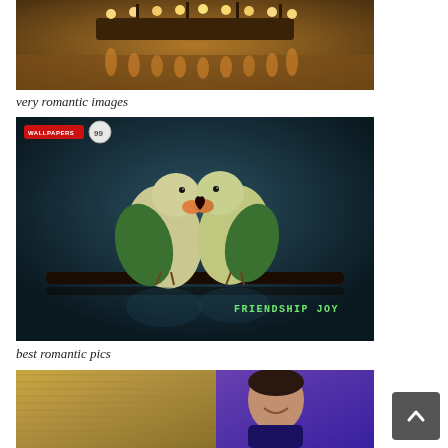[Figure (photo): Floating platform with warm Edison bulb lights reflecting on water at night, romantic ambiance]
very romantic images
[Figure (photo): Two green lovebirds (parakeets) perched on a branch, touching beaks holding a small heart, dark teal background, watermark 'WALLPAPERS 99' and text 'FRIENDSHIP JOY']
best romantic pics
[Figure (photo): Two people outdoors near thatched/woven material, one wearing purple jacket, smiling and looking up]
[Figure (other): Scroll-to-top button (dark grey rounded square with upward chevron arrow)]